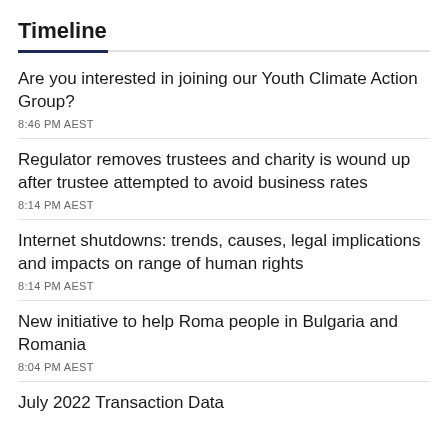Timeline
Are you interested in joining our Youth Climate Action Group?
8:46 PM AEST
Regulator removes trustees and charity is wound up after trustee attempted to avoid business rates
8:14 PM AEST
Internet shutdowns: trends, causes, legal implications and impacts on range of human rights
8:14 PM AEST
New initiative to help Roma people in Bulgaria and Romania
8:04 PM AEST
July 2022 Transaction Data